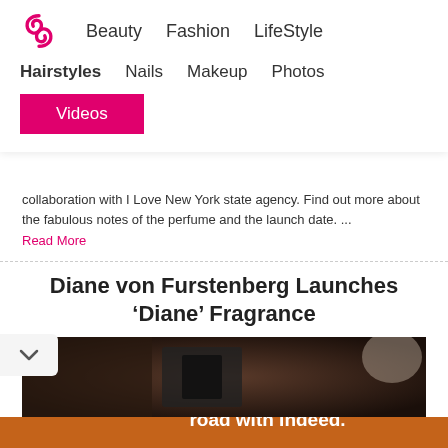Beauty  Fashion  LifeStyle
Hairstyles  Nails  Makeup  Photos
Videos
collaboration with I Love New York state agency. Find out more about the fabulous notes of the perfume and the launch date. ... Read More
Diane von Furstenberg Launches ‘Diane’ Fragrance
[Figure (photo): Dark photograph, likely a product or fashion image related to the Diane von Furstenberg fragrance article]
[Figure (infographic): Indeed advertisement banner: Get drivers on the road with Indeed.]